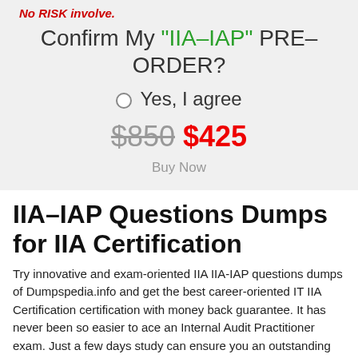No RISK involve.
Confirm My "IIA-IAP" PRE-ORDER?
○ Yes, I agree
$850  $425
Buy Now
IIA-IAP Questions Dumps for IIA Certification
Try innovative and exam-oriented IIA IIA-IAP questions dumps of Dumpspedia.info and get the best career-oriented IT IIA Certification certification with money back guarantee. It has never been so easier to ace an Internal Audit Practitioner exam. Just a few days study can ensure you an outstanding success.